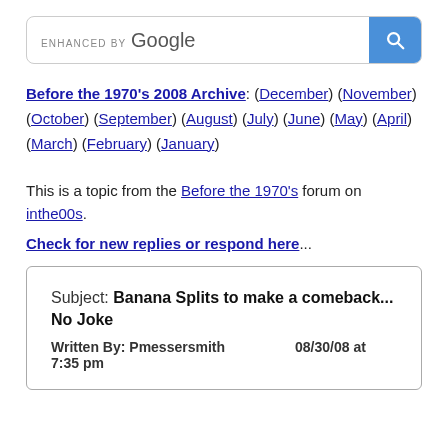[Figure (screenshot): Google search bar with blue search button]
Before the 1970's 2008 Archive: (December) (November) (October) (September) (August) (July) (June) (May) (April) (March) (February) (January)
This is a topic from the Before the 1970's forum on inthe00s.
Check for new replies or respond here...
| Subject: Banana Splits to make a comeback... No Joke |
| Written By: Pmessersmith on 08/30/08 at 7:35 pm |